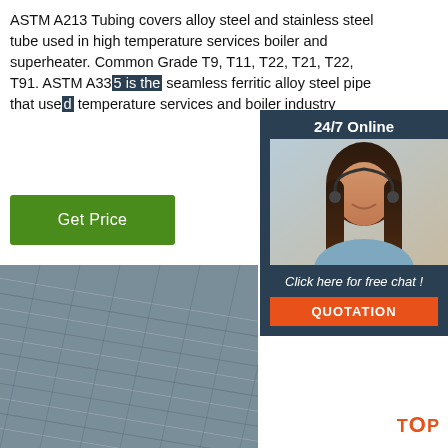ASTM A213 Tubing covers alloy steel and stainless steel tube used in high temperature services boiler and superheater. Common Grade T9, T11, T22, T21, T22, T91. ASTM A335 is the seamless ferritic alloy steel pipe that used temperature services and boiler industry
[Figure (photo): Customer service agent (woman with headset) in a dark teal overlay box with '24/7 Online' banner]
[Figure (photo): Bundle of steel rebar rods stacked together, gray metallic texture]
Click here for free chat !
QUOTATION